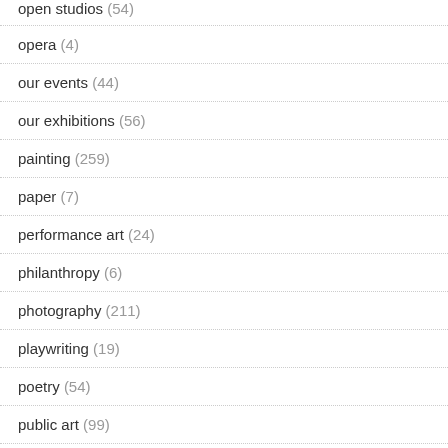open studios (54)
opera (4)
our events (44)
our exhibitions (56)
painting (259)
paper (7)
performance art (24)
philanthropy (6)
photography (211)
playwriting (19)
poetry (54)
public art (99)